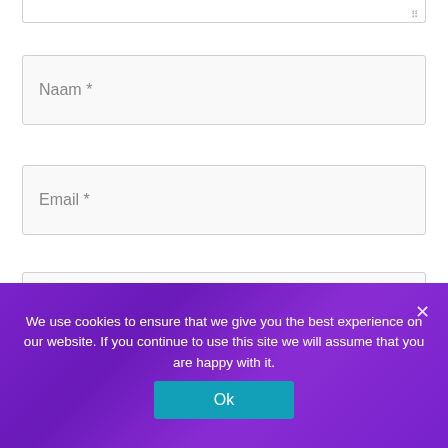[Figure (screenshot): Partial text input field (textarea) with resize handle at bottom right]
Naam *
Email *
Website
Mijn naam, e-mail en site bewaren in deze browser voor de volgende keer wanneer ik een reactie plaats.
We use cookies to ensure that we give you the best experience on our website. If you continue to use this site we will assume that you are happy with it.
Ok